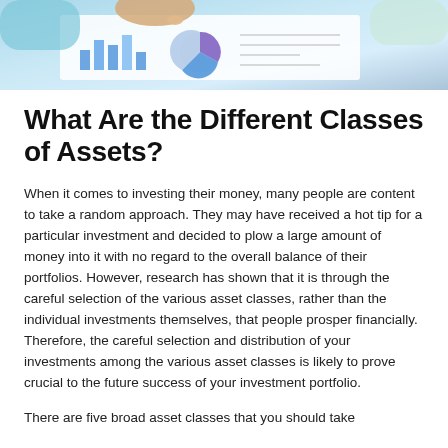[Figure (photo): Close-up photo of hands pointing at financial charts and graphs on paper, with blue and purple pie/bar charts visible, light blue background]
What Are the Different Classes of Assets?
When it comes to investing their money, many people are content to take a random approach. They may have received a hot tip for a particular investment and decided to plow a large amount of money into it with no regard to the overall balance of their portfolios. However, research has shown that it is through the careful selection of the various asset classes, rather than the individual investments themselves, that people prosper financially. Therefore, the careful selection and distribution of your investments among the various asset classes is likely to prove crucial to the future success of your investment portfolio.
There are five broad asset classes that you should take